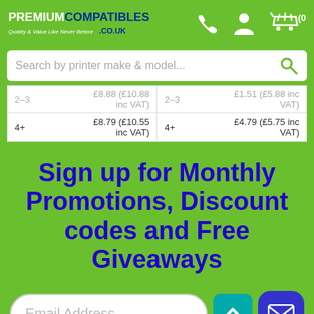PREMIUM COMPATIBLES .CO.UK — Quality & Value Like Never Before
| 2-3 | £8.79 (£10.55 inc VAT) | 2-3 | £4.79 (£5.75 inc VAT) |
| 4+ | £8.79 (£10.55 inc VAT) | 4+ | £4.79 (£5.75 inc VAT) |
Sign up for Monthly Promotions, Discount codes and Free Giveaways
Email Address